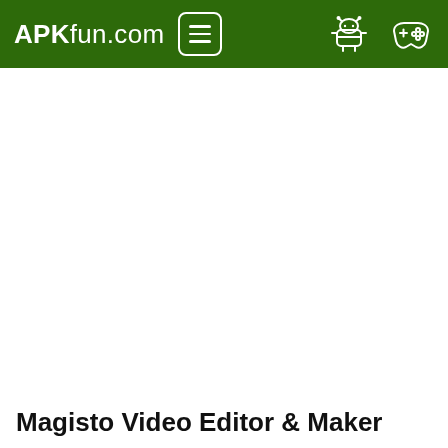APKfun.com
Magisto Video Editor & Maker